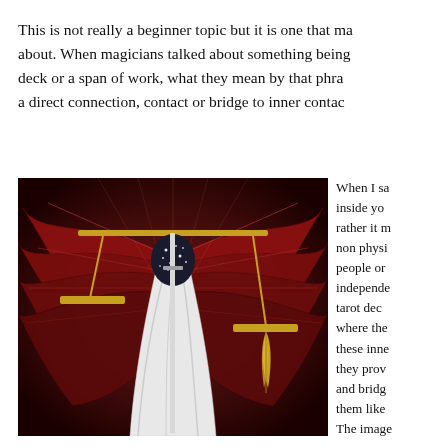This is not really a beginner topic but it is one that ma... about. When magicians talked about something being... deck or a span of work, what they mean by that phras... a direct connection, contact or bridge to inner contac...
[Figure (illustration): Tarot card illustration showing a robed figure holding scales of justice and a sword, with large red wings spread in the background. The figure wears a white robe and a dark hood covered in stars. A golden feather hangs from the right scale pan.]
When I sa... inside yo... rather it m... non physi... people or... independe... tarot dec... where the... these inne... they prov... and bridg... them like... The image...